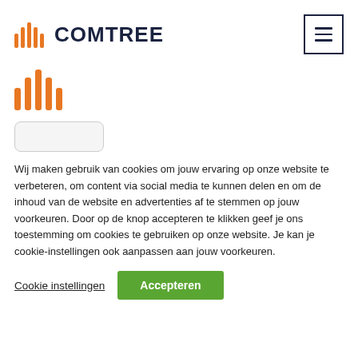[Figure (logo): Comtree logo with orange bar-chart icon and dark navy bold text COMTREE]
[Figure (other): Hamburger menu button with three horizontal lines in a square border]
[Figure (logo): Orange vertical bars icon (Comtree symbol) displayed large]
[Figure (other): Partial rounded rectangle element partially visible at bottom of header area]
Wij maken gebruik van cookies om jouw ervaring op onze website te verbeteren, om content via social media te kunnen delen en om de inhoud van de website en advertenties af te stemmen op jouw voorkeuren. Door op de knop accepteren te klikken geef je ons toestemming om cookies te gebruiken op onze website. Je kan je cookie-instellingen ook aanpassen aan jouw voorkeuren.
Cookie instellingen
Accepteren